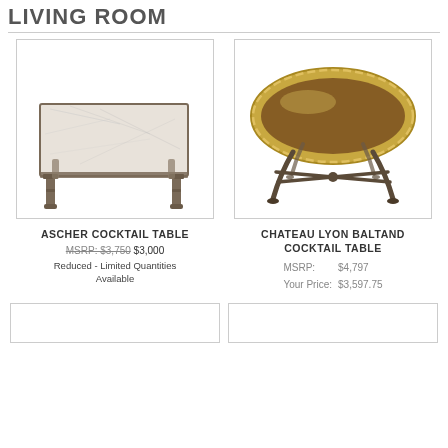LIVING ROOM
[Figure (photo): Ascher cocktail table with marble-look top and dark metal legs]
ASCHER COCKTAIL TABLE
MSRP: $3,750 $3,000
Reduced - Limited Quantities Available
[Figure (photo): Chateau Lyon Baltand cocktail table with gold oval tray top and dark metal legs with X-stretcher]
CHATEAU LYON BALTAND COCKTAIL TABLE
| MSRP: | $4,797 |
| Your Price: | $3,597.75 |